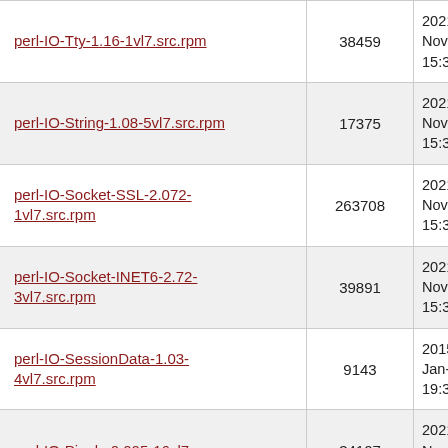| Name | Size | Date |
| --- | --- | --- |
| perl-IO-Tty-1.16-1vl7.src.rpm | 38459 | 2021-Nov-2 15:34- |
| perl-IO-String-1.08-5vl7.src.rpm | 17375 | 2021-Nov-2 15:34- |
| perl-IO-Socket-SSL-2.072-1vl7.src.rpm | 263708 | 2021-Nov-2 15:34- |
| perl-IO-Socket-INET6-2.72-3vl7.src.rpm | 39891 | 2021-Nov-2 15:34- |
| perl-IO-SessionData-1.03-4vl7.src.rpm | 9143 | 2015-Jan-3 19:34- |
| perl-IO-Pipely-0.005-16vl7.src.rpm | 34107 | 2021-Nov-2 15:34- |
| perl-IO-HTML-1.004-1vl7.src.rpm | 31448 | 2021-Nov-2 15:34- |
| perl-IO-CaptureOutput-1.1104- | 40000 | 2019-May- |